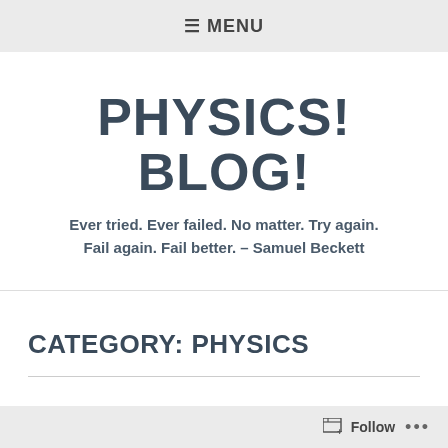☰ MENU
PHYSICS! BLOG!
Ever tried. Ever failed. No matter. Try again. Fail again. Fail better. – Samuel Beckett
CATEGORY: PHYSICS
Follow ...